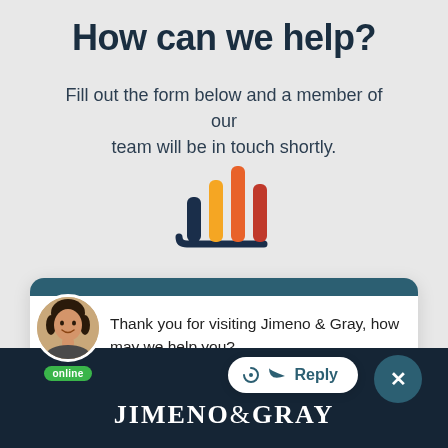How can we help?
Fill out the form below and a member of our team will be in touch shortly.
[Figure (logo): Bar chart style logo icon with three bars in orange, red/dark-red, and dark blue colors with a curved base, representing the Jimeno & Gray brand]
[Figure (photo): Circular avatar photo of a smiling woman with dark hair, with a green 'online' badge below]
Thank you for visiting Jimeno & Gray, how may we help you?
Reply
JIMENO & GRAY